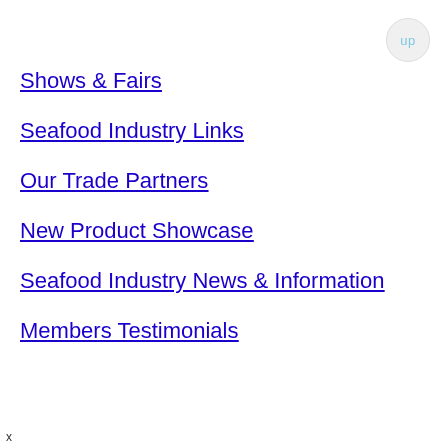[Figure (other): Circular 'up' navigation button in top right corner with light blue text on grey background]
Shows & Fairs
Seafood Industry Links
Our Trade Partners
New Product Showcase
Seafood Industry News & Information
Members Testimonials